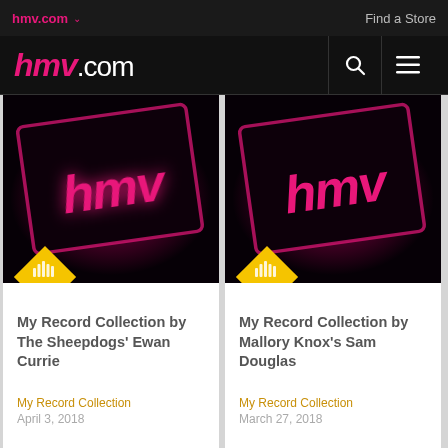hmv.com   Find a Store
hmv.com
[Figure (photo): HMV logo glowing pink neon on dark background - card for My Record Collection by The Sheepdogs' Ewan Currie]
My Record Collection by The Sheepdogs' Ewan Currie
My Record Collection
April 3, 2018
[Figure (photo): HMV logo glowing pink neon on dark background - card for My Record Collection by Mallory Knox's Sam Douglas]
My Record Collection by Mallory Knox's Sam Douglas
My Record Collection
March 27, 2018